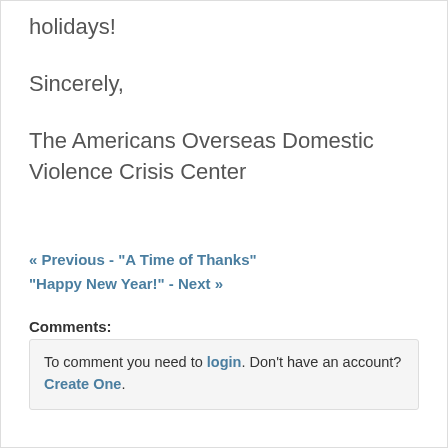holidays!
Sincerely,
The Americans Overseas Domestic Violence Crisis Center
« Previous - "A Time of Thanks" "Happy New Year!" - Next »
Comments:
To comment you need to login. Don't have an account? Create One.